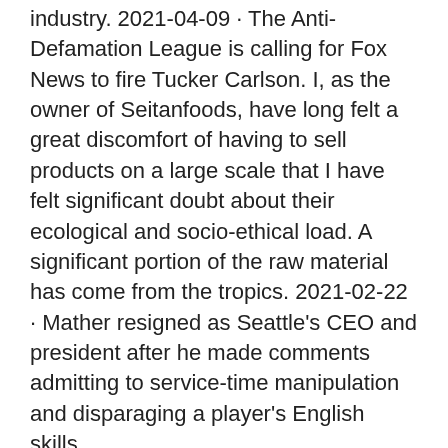industry. 2021-04-09 · The Anti-Defamation League is calling for Fox News to fire Tucker Carlson. I, as the owner of Seitanfoods, have long felt a great discomfort of having to sell products on a large scale that I have felt significant doubt about their ecological and socio-ethical load. A significant portion of the raw material has come from the tropics. 2021-02-22 · Mather resigned as Seattle's CEO and president after he made comments admitting to service-time manipulation and disparaging a player's English skills.
Vardcentralen aparken tyringe
Mag materials
Specsavers sundbyberg